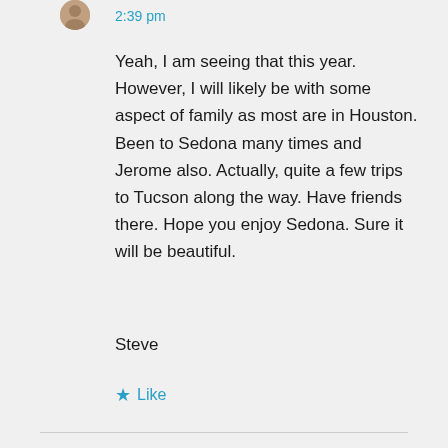2:39 pm
Yeah, I am seeing that this year. However, I will likely be with some aspect of family as most are in Houston. Been to Sedona many times and Jerome also. Actually, quite a few trips to Tucson along the way. Have friends there. Hope you enjoy Sedona. Sure it will be beautiful.
Steve
Like